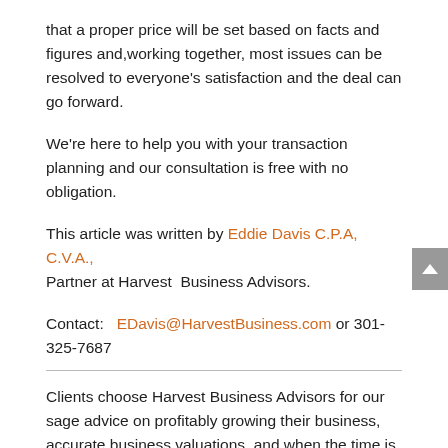that  a proper price will be set based on  facts and figures and,working together, most issues can be resolved to everyone's satisfaction and the deal can go forward.
We're here to help you with your transaction planning and our consultation is free with no obligation.
This article was written by Eddie Davis C.P.A, C.V.A., Partner at Harvest  Business Advisors.
Contact:  EDavis@HarvestBusiness.com or 301-325-7687
Clients choose Harvest Business Advisors for our sage advice on profitably growing their business, accurate business valuations, and when the time is right, a consistent ability to deliver a high price as part of a smooth exit transaction.
Harvest Business Advisors provides business